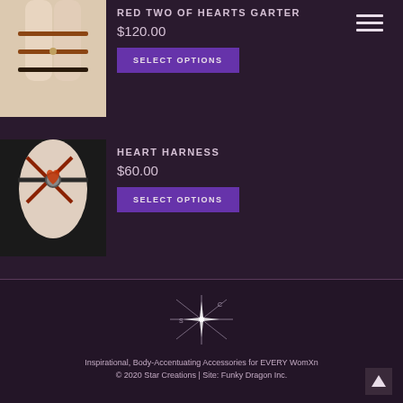[Figure (photo): Product photo of Red Two of Hearts Garter on mannequin legs]
RED TWO OF HEARTS GARTER
$120.00
SELECT OPTIONS
[Figure (photo): Product photo of Heart Harness on mannequin torso]
HEART HARNESS
$60.00
SELECT OPTIONS
[Figure (logo): Star Creations compass star logo]
Inspirational, Body-Accentuating Accessories for EVERY WomXn
© 2020 Star Creations | Site: Funky Dragon Inc.